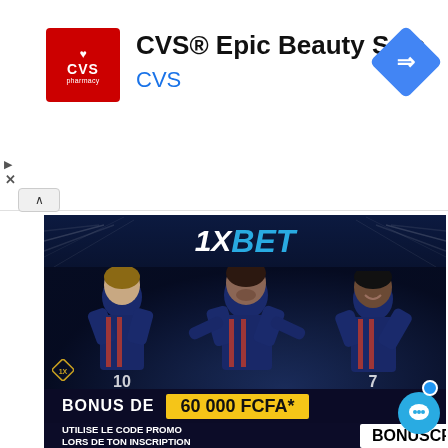[Figure (screenshot): CVS Pharmacy advertisement banner at top. Shows CVS red pharmacy logo on left, text 'CVS® Epic Beauty Sale' and 'CVS' in blue, navigation arrow icon on right. Ad control icons (play triangle, X close) on left side, collapse caret below.]
[Figure (infographic): 1XBET sports betting advertisement. Dark background with three PSG soccer players (Messi #10, Neymar, Mbappe #7) in navy blue PSG jerseys. Text at bottom: 'BONUS DE 60 000 FCFA*' in white and yellow box, and 'UTILISE LE CODE PROMO LORS DE TON INSCRIPTION' with promo code box 'BONUSCP'. 1xBET logo at top in white and blue.]